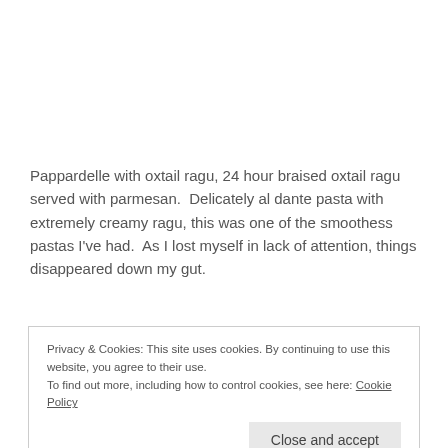Pappardelle with oxtail ragu, 24 hour braised oxtail ragu served with parmesan.  Delicately al dante pasta with extremely creamy ragu, this was one of the smoothess pastas I've had.  As I lost myself in lack of attention, things disappeared down my gut.
Privacy & Cookies: This site uses cookies. By continuing to use this website, you agree to their use.
To find out more, including how to control cookies, see here: Cookie Policy